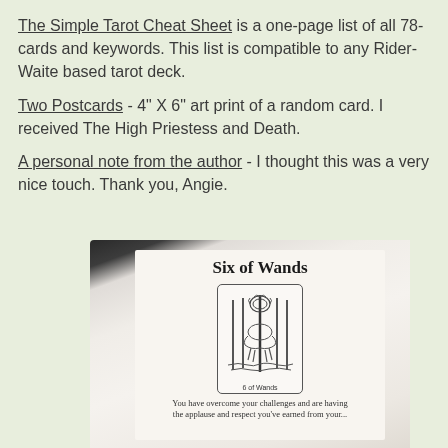The Simple Tarot Cheat Sheet is a one-page list of all 78-cards and keywords. This list is compatible to any Rider-Waite based tarot deck.
Two Postcards - 4" X 6" art print of a random card. I received The High Priestess and Death.
A personal note from the author - I thought this was a very nice touch. Thank you, Angie.
[Figure (photo): A photograph of an open book/booklet showing a page with 'Six of Wands' as the title, a small tarot card illustration below it showing the Six of Wands card with the label '6 of Wands', and text below reading 'You have overcome your challenges and are having the applause and respect you've earned from your...']